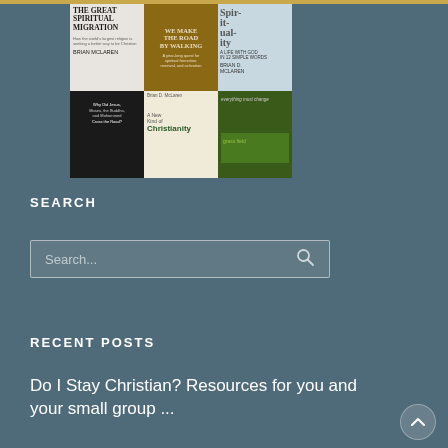[Figure (illustration): A 2x3 grid of book covers by Brian McLaren: 'The Great Spiritual Migration', 'We Make the Road by Walking', 'Spirituality: A Life with God in 12 Simple Words', 'Why Did Jesus, Moses, the Buddha, and Mohammed Cross the Road?', 'A New Kind of Christianity', and 'Everything Must Change'.]
SEARCH
Search...
RECENT POSTS
Do I Stay Christian? Resources for you and your small group ...